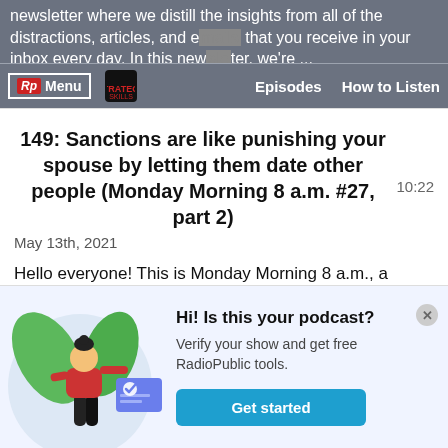newsletter where we distill the insights from all of the distractions, articles, and emails that you receive in your inbox every day. In this newsletter, we're ...
149: Sanctions are like punishing your spouse by letting them date other people (Monday Morning 8 a.m. #27, part 2)
10:22
May 13th, 2021
Hello everyone! This is Monday Morning 8 a.m., a weekly newsletter where we distill the insights from all of the distractions, articles, and emails that you receive in your inbox every day. In this newsletter, we're ...
[Figure (illustration): Woman holding a verified document card, with green leaves background, illustration for podcast verification promo]
Hi! Is this your podcast? Verify your show and get free RadioPublic tools. Get started